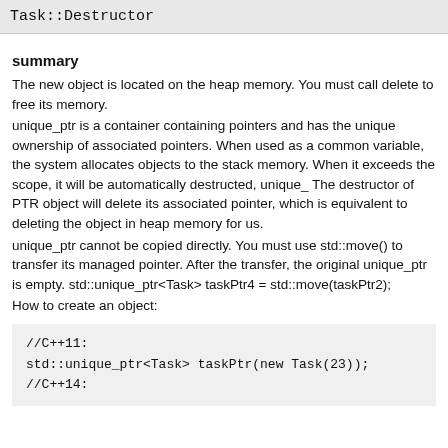Task::Destructor
summary
The new object is located on the heap memory. You must call delete to free its memory.
unique_ptr is a container containing pointers and has the unique ownership of associated pointers. When used as a common variable, the system allocates objects to the stack memory. When it exceeds the scope, it will be automatically destructed, unique_ The destructor of PTR object will delete its associated pointer, which is equivalent to deleting the object in heap memory for us.
unique_ptr cannot be copied directly. You must use std::move() to transfer its managed pointer. After the transfer, the original unique_ptr is empty. std::unique_ptr<Task> taskPtr4 = std::move(taskPtr2);
How to create an object:
//C++11:
std::unique_ptr<Task> taskPtr(new Task(23));
//C++14: